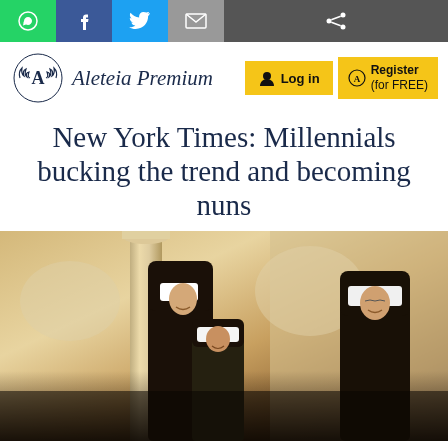Social sharing bar with WhatsApp, Facebook, Twitter, Email, Share buttons
[Figure (logo): Aleteia Premium logo with laurel wreath around letter A]
Aleteia Premium
Log in
Register (for FREE)
New York Times: Millennials bucking the trend and becoming nuns
[Figure (photo): Three nuns in black and white habits standing in an ornate church interior with classical columns and arched architecture, smiling and interacting with each other]